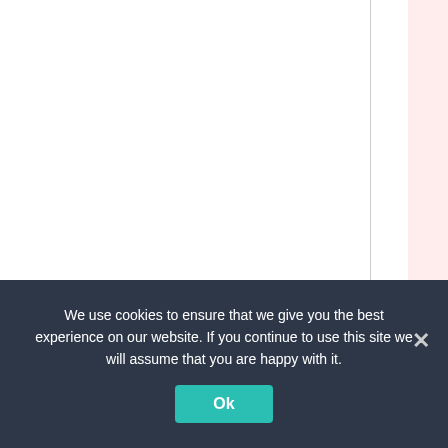[Figure (other): Calendar or table grid with vertical lines (gray solid, pink shaded column, gray dotted) and rotated red text reading 'une 26, 2020 at 9:22am' displayed vertically]
We use cookies to ensure that we give you the best experience on our website. If you continue to use this site we will assume that you are happy with it.
Ok